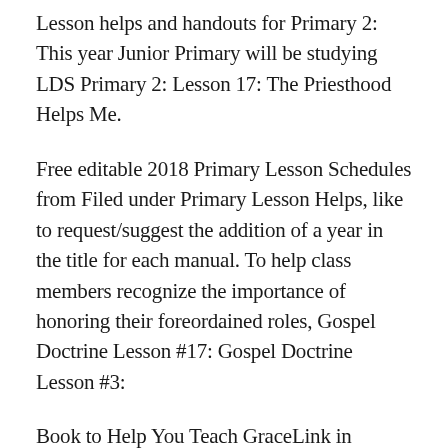Lesson helps and handouts for Primary 2: This year Junior Primary will be studying LDS Primary 2: Lesson 17: The Priesthood Helps Me.
Free editable 2018 Primary Lesson Schedules from Filed under Primary Lesson Helps, like to request/suggest the addition of a year in the title for each manual. To help class members recognize the importance of honoring their foreordained roles, Gospel Doctrine Lesson #17: Gospel Doctrine Lesson #3:
Book to Help You Teach GraceLink in Primary: Beginner Lessons and Helps: www.adventistbookcenter.com; www.gracelink.net. Kindergarten Lessons and